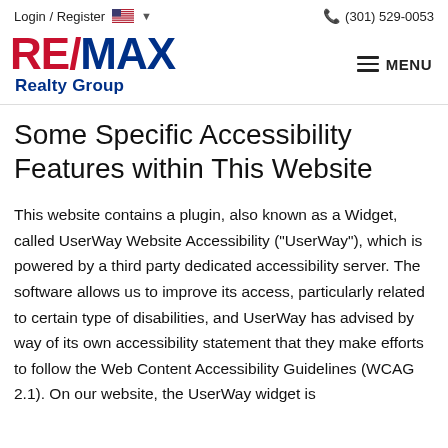Login / Register   (301) 529-0053
[Figure (logo): RE/MAX Realty Group logo with red RE and slash, blue MAX text, and blue Realty Group subtitle]
Some Specific Accessibility Features within This Website
This website contains a plugin, also known as a Widget, called UserWay Website Accessibility ("UserWay"), which is powered by a third party dedicated accessibility server. The software allows us to improve its access, particularly related to certain type of disabilities, and UserWay has advised by way of its own accessibility statement that they make efforts to follow the Web Content Accessibility Guidelines (WCAG 2.1). On our website, the UserWay widget is